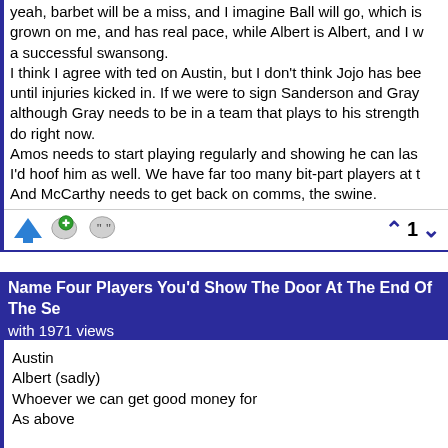yeah, barbet will be a miss, and I imagine Ball will go, which is grown on me, and has real pace, while Albert is Albert, and I w a successful swansong.
I think I agree with ted on Austin, but I don't think Jojo has bee until injuries kicked in. If we were to sign Sanderson and Gray although Gray needs to be in a team that plays to his strength do right now.
Amos needs to start playing regularly and showing he can las I'd hoof him as well. We have far too many bit-part players at t And McCarthy needs to get back on comms, the swine.
[Figure (screenshot): Action icons: up arrow, green plus speech bubble, quote speech bubble, and vote count showing 1 with up/down chevrons]
Name Four Players You'd Show The Door At The End Of The Se with 1971 views
Austin
Albert (sadly)
Whoever we can get good money for
As above

I'm very reluctant to name the 2 to sell but if we get serious of take them - quite a lot to be done to that squad. I don't even th enough unless we get Eze or higher money for Willock.